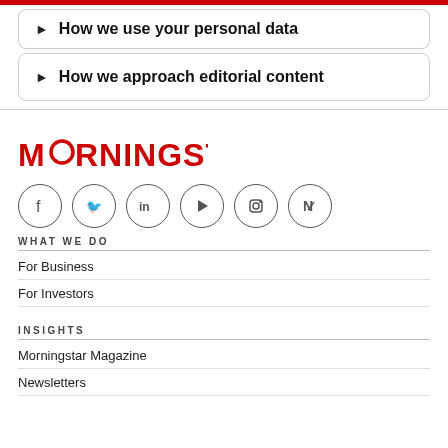► How we use your personal data
► How we approach editorial content
[Figure (logo): Morningstar logo in red with stylized letter O]
[Figure (infographic): Social media icons: Facebook, Twitter, LinkedIn, YouTube, Instagram, Apple News]
WHAT WE DO
For Business
For Investors
INSIGHTS
Morningstar Magazine
Newsletters